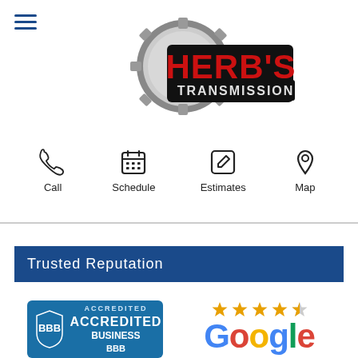[Figure (logo): Herb's Transmission logo with gear and red text]
[Figure (infographic): Navigation icons: Call (phone), Schedule (calendar), Estimates (pencil/edit), Map (location pin)]
Trusted Reputation
[Figure (logo): BBB Accredited Business logo]
[Figure (logo): Google logo with 4.5 stars rating]